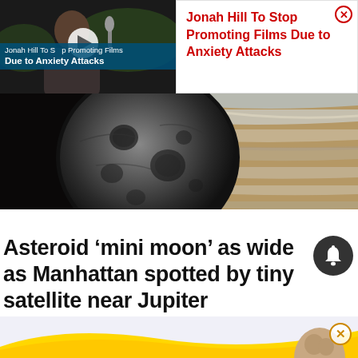[Figure (screenshot): Video thumbnail showing Jonah Hill at a promotional event with play button overlay and title bar reading 'Jonah Hill To Stop Promoting Films Due to Anxiety Attacks']
Jonah Hill To Stop Promoting Films Due to Anxiety Attacks
[Figure (photo): Space image showing a dark asteroid/mini-moon in the foreground against the swirling clouds of Jupiter in the background]
Asteroid ‘mini moon’ as wide as Manhattan spotted by tiny satellite near Jupiter
[Figure (photo): Bottom advertisement strip with yellow wave design and partial face visible]